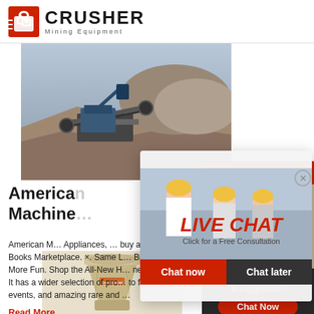[Figure (logo): Crusher Mining Equipment logo with red shopping bag icon and bold black CRUSHER text]
[Figure (photo): Mining equipment / crusher machinery in an open pit quarry]
American Machine
American M... Appliances, ... buy at Half Price Books Marketplace. ×. Same L... Bigger Selection, More Fun. Shop the All-New H... new marketplace! It has a wider selection of pro... to find store events, and amazing rare and ...
Read More
[Figure (photo): Cone crusher machine, beige/cream colored]
[Figure (infographic): Live Chat popup overlay with workers photo, LIVE CHAT title, Chat now and Chat later buttons]
[Figure (photo): 24Hrs Online sidebar with customer service agent wearing headset]
Need questions & suggestion?
Chat Now
Enquiry
limingjlmofen@sina.com